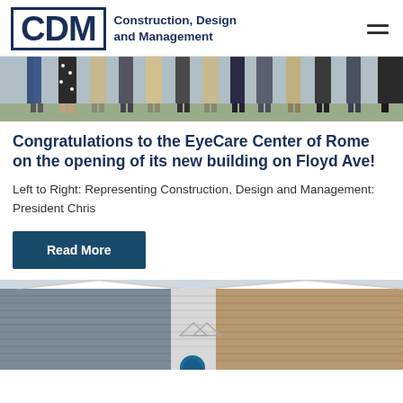CDM Construction, Design and Management
[Figure (photo): Group of people standing outdoors, cropped showing lower bodies/legs from waist down, at a building site or outdoor event.]
Congratulations to the EyeCare Center of Rome on the opening of its new building on Floyd Ave!
Left to Right: Representing Construction, Design and Management: President Chris
Read More
[Figure (photo): Exterior photo of a building with gray and tan siding, peaked roof architecture, partially cropped at bottom of page.]